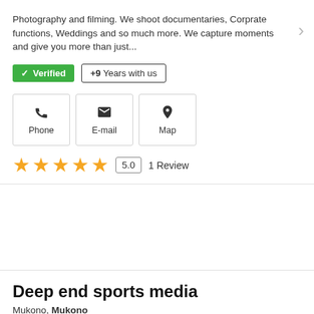Photography and filming. We shoot documentaries, Corprate functions, Weddings and so much more. We capture moments and give you more than just...
✓ Verified | +9 Years with us
[Figure (infographic): Three contact buttons: Phone (phone icon), E-mail (envelope icon), Map (location pin icon), displayed as bordered boxes]
★★★★★ 5.0  1 Review
Deep end sports media
Mukono, Mukono
For sports broadcast, film crew support, documentary film making, music video shooting, wedding or kwanjula video coverage, commercials or...